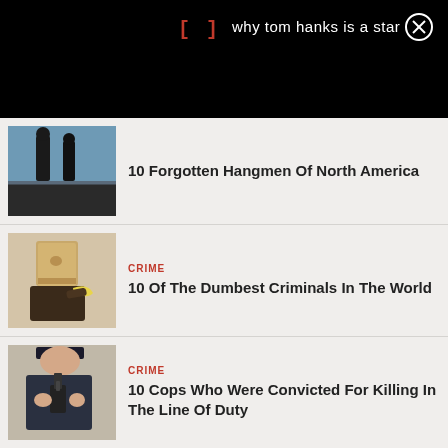[] why tom hanks is a star
[Figure (photo): Dark photo of a person standing on a structure outdoors]
10 Forgotten Hangmen Of North America
[Figure (photo): Person with paper bag over head holding a banana]
CRIME
10 Of The Dumbest Criminals In The World
[Figure (photo): Police officer pointing a gun at the camera]
CRIME
10 Cops Who Were Convicted For Killing In The Line Of Duty
[Figure (photo): Partially visible thumbnail at bottom]
CRIME